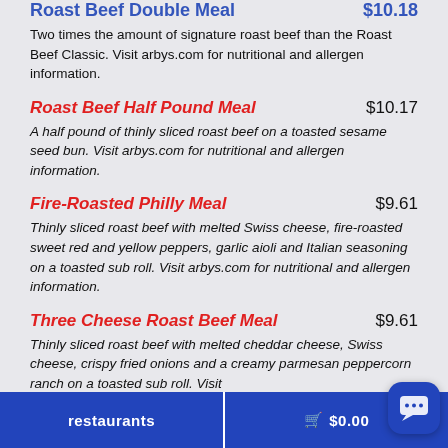Roast Beef Double Meal $10.18
Two times the amount of signature roast beef than the Roast Beef Classic. Visit arbys.com for nutritional and allergen information.
Roast Beef Half Pound Meal $10.17
A half pound of thinly sliced roast beef on a toasted sesame seed bun. Visit arbys.com for nutritional and allergen information.
Fire-Roasted Philly Meal $9.61
Thinly sliced roast beef with melted Swiss cheese, fire-roasted sweet red and yellow peppers, garlic aioli and Italian seasoning on a toasted sub roll. Visit arbys.com for nutritional and allergen information.
Three Cheese Roast Beef Meal $9.61
Thinly sliced roast beef with melted cheddar cheese, Swiss cheese, crispy fried onions and a creamy parmesan peppercorn ranch on a toasted sub roll. Visit
restaurants   🛒 $0.00